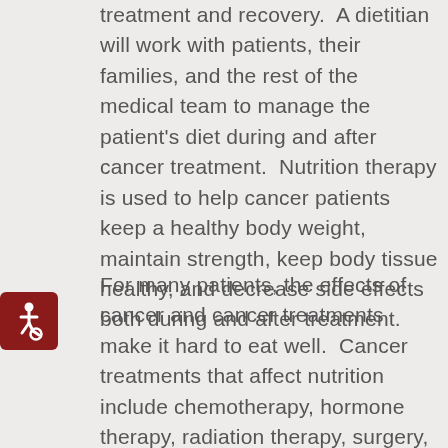treatment and recovery.  A dietitian will work with patients, their families, and the rest of the medical team to manage the patient's diet during and after cancer treatment.  Nutrition therapy is used to help cancer patients keep a healthy body weight, maintain strength, keep body tissue healthy, and decrease side effects both during and after treatment.
[Figure (illustration): Accessibility icon: white wheelchair symbol on dark red rounded square background]
For many patients, the effects of cancer and cancer treatments make it hard to eat well.  Cancer treatments that affect nutrition include chemotherapy, hormone therapy, radiation therapy, surgery, immunotherapy, and stem cell transplant.  When the head, neck,